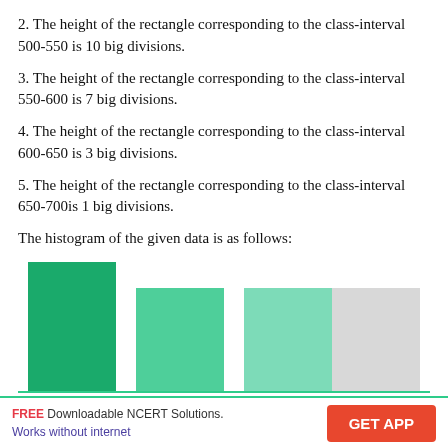2. The height of the rectangle corresponding to the class-interval 500-550 is 10 big divisions.
3. The height of the rectangle corresponding to the class-interval 550-600 is 7 big divisions.
4. The height of the rectangle corresponding to the class-interval 600-650 is 3 big divisions.
5. The height of the rectangle corresponding to the class-interval 650-700is 1 big divisions.
The histogram of the given data is as follows:
[Figure (histogram): Histogram of given data]
FREE Downloadable NCERT Solutions. Works without internet | GET APP